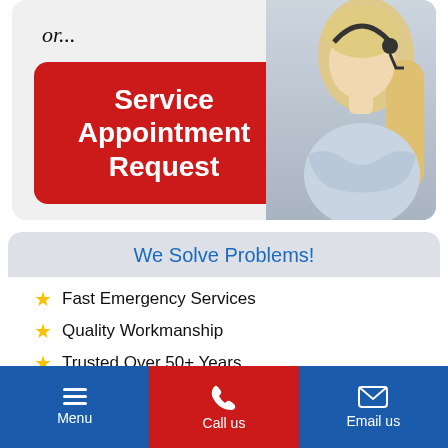[Figure (screenshot): Top section showing italic 'or...' text with a red rounded button labeled 'Service Appointment Request' and a photo of a blonde woman with a headset on the right side, all inside a light gray rounded card.]
We Solve Problems!
Fast Emergency Services
Quality Workmanship
Trusted Over 50+ Years
Licensed & Fully Insured
Menu | Call us | Email us